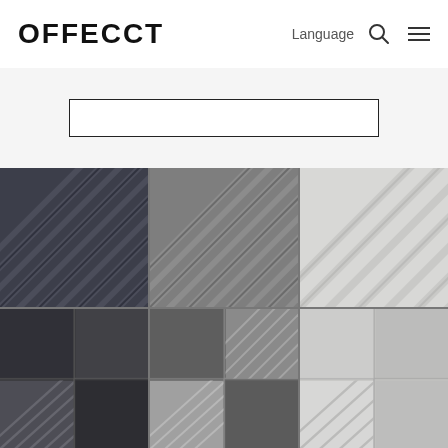OFFECCT
Language
[Figure (screenshot): Search bar input field on light grey background]
[Figure (photo): Grid of 6 acoustic panel texture swatches in dark grey, medium grey, and light grey, showing diagonal stripe patterns and quadrant tile patterns]